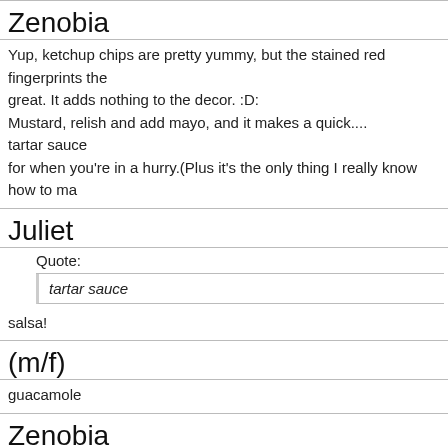Zenobia
Yup, ketchup chips are pretty yummy, but the stained red fingerprints they great. It adds nothing to the decor. :D:
Mustard, relish and add mayo, and it makes a quick....
tartar sauce
for when you're in a hurry.(Plus it's the only thing I really know how to ma
Juliet
Quote:
tartar sauce
salsa!
(m/f)
guacamole
Zenobia
I've never had guacamole yet. I keep meaning to try it, but never seem to